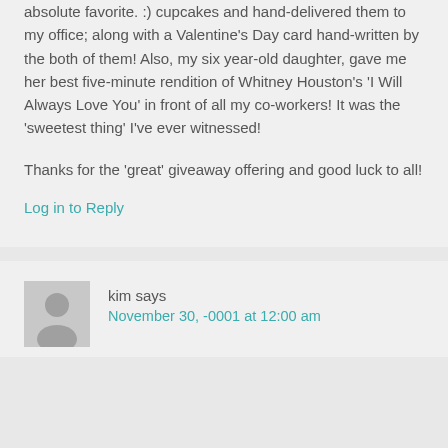absolute favorite. :) cupcakes and hand-delivered them to my office; along with a Valentine's Day card hand-written by the both of them! Also, my six year-old daughter, gave me her best five-minute rendition of Whitney Houston's 'I Will Always Love You' in front of all my co-workers! It was the 'sweetest thing' I've ever witnessed!
Thanks for the 'great' giveaway offering and good luck to all!
Log in to Reply
kim says
November 30, -0001 at 12:00 am